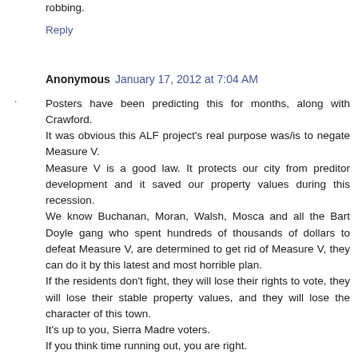robbing.
Reply
Anonymous  January 17, 2012 at 7:04 AM
Posters have been predicting this for months, along with Crawford.
It was obvious this ALF project's real purpose was/is to negate Measure V.
Measure V is a good law. It protects our city from preditor development and it saved our property values during this recession.
We know Buchanan, Moran, Walsh, Mosca and all the Bart Doyle gang who spent hundreds of thousands of dollars to defeat Measure V, are determined to get rid of Measure V, they can do it by this latest and most horrible plan.
If the residents don't fight, they will lose their rights to vote, they will lose their stable property values, and they will lose the character of this town.
It's up to you, Sierra Madre voters.
If you think time running out, you are right.
The Doyle gang will put up "Mosca" traitors as candidates .